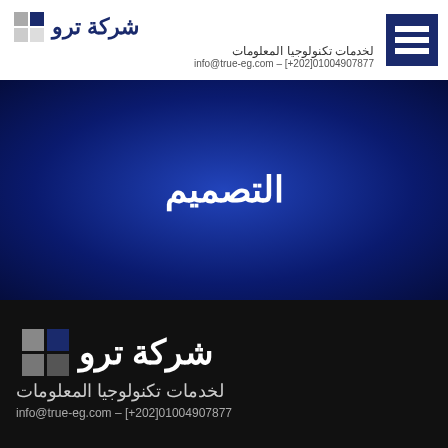[Figure (logo): True company logo with blue square icon containing three horizontal white lines, brand name in Arabic 'شركة ترو', dark blue and gray squares, tagline 'لخدمات تكنولوجيا المعلومات', contact info@true-eg.com – [+202]01004907877]
التصميم
[Figure (logo): True company logo on black background - large version with Arabic brand name 'شركة ترو', blue and gray squares, tagline 'لخدمات تكنولوجيا المعلومات', contact info@true-eg.com – [+202]01004907877]